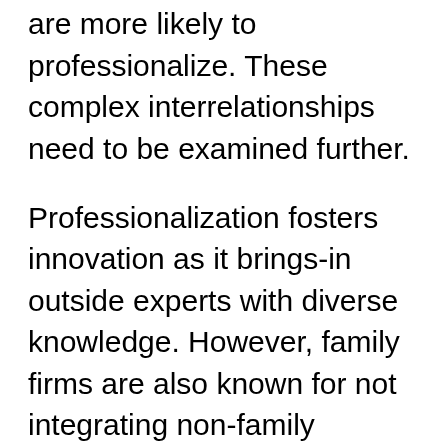less concerned for SEW and are more likely to professionalize. These complex interrelationships need to be examined further.
Professionalization fosters innovation as it brings-in outside experts with diverse knowledge. However, family firms are also known for not integrating non-family professionals as they prefer to keep the strategic control within the family to preserve SEW.
Finally, the authors theorize that the environment plays a significant role in determining family firm innovation. Firms under uncertain environments are known to be more innovative than those working under stable environments. Thus, several factors